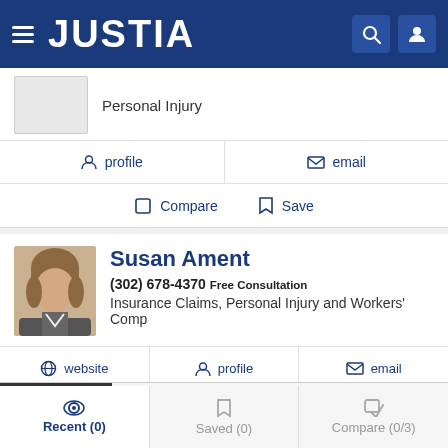JUSTIA
Personal Injury
profile  email
Compare  Save
Susan Ament
(302) 678-4370 Free Consultation
Insurance Claims, Personal Injury and Workers' Comp
website  profile  email
Compare  Save
Recent (0)  Saved (0)  Compare (0/3)